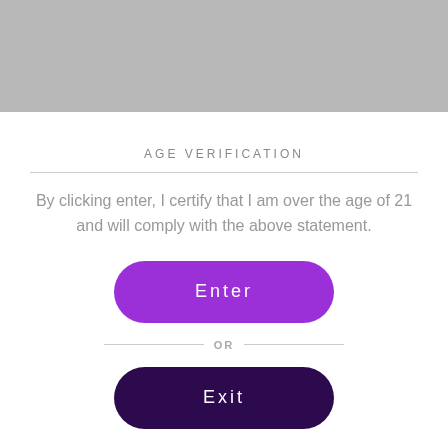[Figure (other): Gray banner/header image area at top of page]
AGE VERIFICATION
By clicking enter, I certify that I am over the age of 21 and will comply with the above statement.
[Figure (other): Purple rounded button labeled 'Enter']
OR
[Figure (other): Dark purple rounded button labeled 'Exit']